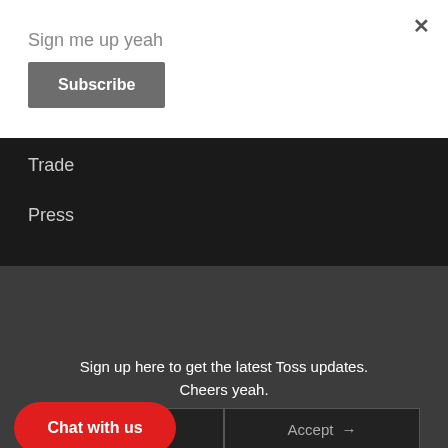Sign me up yeah
Subscribe
×
Trade
Press
In The Guardian
×
Sign up here to get the latest Toss updates. Cheers yeah.
This website uses cookies to ensure you get the best experience. Learn more
Chat with us
Accept →